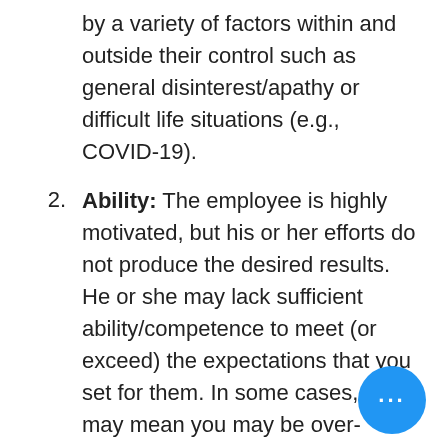by a variety of factors within and outside their control such as general disinterest/apathy or difficult life situations (e.g., COVID-19).
Ability: The employee is highly motivated, but his or her efforts do not produce the desired results. He or she may lack sufficient ability/competence to meet (or exceed) the expectations that you set for them. In some cases, this may mean you may be over-estimating the employee's potential in their current role
Environment: The employee could be highly motivated and